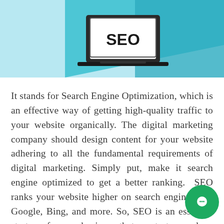[Figure (illustration): SEO banner image with light blue background, teal diagonal shape, and a laptop showing 'SEO' on screen]
It stands for Search Engine Optimization, which is an effective way of getting high-quality traffic to your website organically. The digital marketing company should design content for your website adhering to all the fundamental requirements of digital marketing. Simply put, make it search engine optimized to get a better ranking. SEO ranks your website higher on search engines like Google, Bing, and more. So, SEO is an essential strategy for any business that wants to excel on the internet and manifold its business. This the first thing you should be looking at